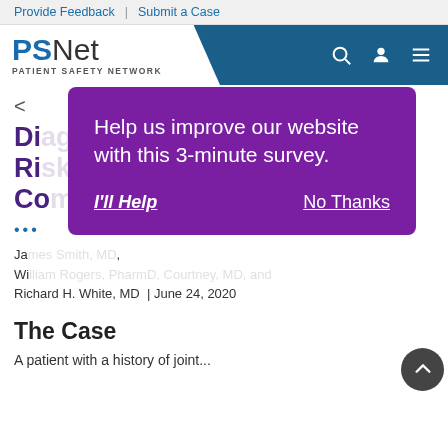Provide Feedback | Submit a Case
[Figure (logo): PSNet Patient Safety Network logo with blue header navigation bar containing search, user, and menu icons]
< (back arrow)
Di... Ri... Co... (article title partially obscured by modal)
... (share/ellipsis dots)
Ja..., Wi..., Richard H. White, MD | June 24, 2020
[Figure (screenshot): Purple modal overlay with text 'Help us improve our website with this 3-minute survey.' and buttons 'I'll Help' and 'No Thanks']
The Case
A patient with a history of... (text cut off)